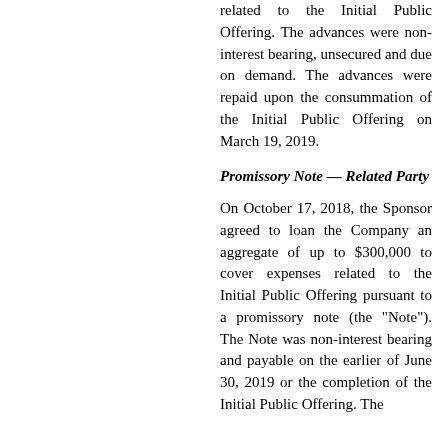related to the Initial Public Offering. The advances were non-interest bearing, unsecured and due on demand. The advances were repaid upon the consummation of the Initial Public Offering on March 19, 2019.
Promissory Note — Related Party
On October 17, 2018, the Sponsor agreed to loan the Company an aggregate of up to $300,000 to cover expenses related to the Initial Public Offering pursuant to a promissory note (the "Note"). The Note was non-interest bearing and payable on the earlier of June 30, 2019 or the completion of the Initial Public Offering. The